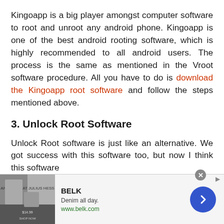Kingoapp is a big player amongst computer software to root and unroot any android phone. Kingoapp is one of the best android rooting software, which is highly recommended to all android users. The process is the same as mentioned in the Vroot software procedure. All you have to do is download the Kingoapp root software and follow the steps mentioned above.
3. Unlock Root Software
Unlock Root software is just like an alternative. We got success with this software too, but now I think this software
[Figure (other): Advertisement banner for BELK clothing brand showing 'Denim all day. www.belk.com' with an image of people wearing denim, a navigation arrow button, and a close button.]